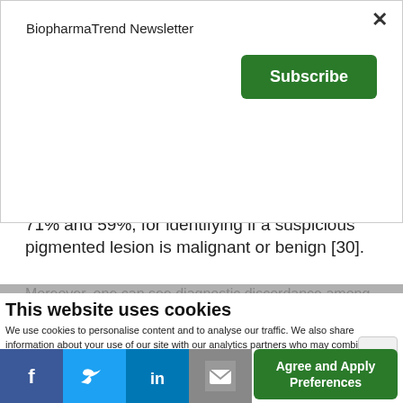BiopharmaTrend Newsletter
Subscribe
cancerous or not is crude and imperfect. They smartly point out that dermatologists, in some studies, have a sensitivity and specificity of 71% and 59%, for identifying if a suspicious pigmented lesion is malignant or benign [30].
Moreover, one can see diagnostic discordance among expert dermatopathologists evaluating patient samples under a microscope [31]
This website uses cookies
We use cookies to personalise content and to analyse our traffic. We also share information about your use of our site with our analytics partners who may combine it with other information that you've provided
Necessary cookies
Don't show subscribe popup
Agree and Apply Preferences